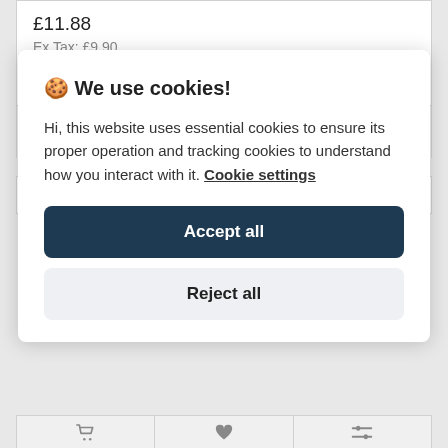£11.88
Ex Tax: £9.90
[Figure (screenshot): E-commerce product card with price £11.88, Ex Tax £9.90, and three action buttons (cart, heart/wishlist, compare) shown in a row at the bottom of the card.]
🍪 We use cookies!
Hi, this website uses essential cookies to ensure its proper operation and tracking cookies to understand how you interact with it. Cookie settings
Accept all
Reject all